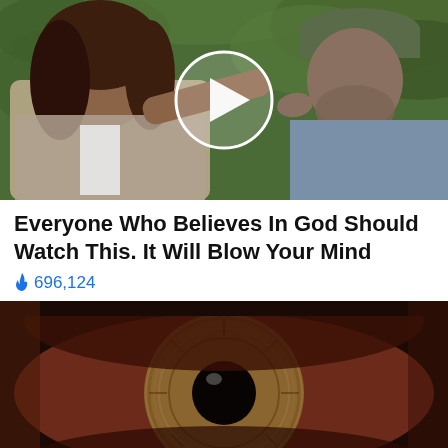[Figure (photo): Two people outdoors with green foliage background; a woman with dark hair gesturing and a man wearing a cap pointing, with a circular video play button overlay in the center]
Everyone Who Believes In God Should Watch This. It Will Blow Your Mind
🔥 696,124
[Figure (photo): Extreme close-up macro photograph of a human eye with hazel/amber iris and black pupil, showing detailed iris texture]